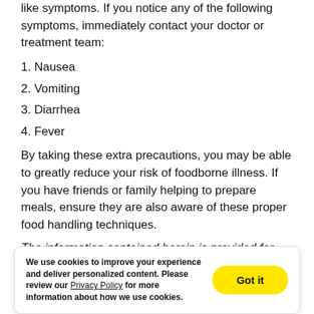like symptoms. If you notice any of the following symptoms, immediately contact your doctor or treatment team:
1. Nausea
2. Vomiting
3. Diarrhea
4. Fever
By taking these extra precautions, you may be able to greatly reduce your risk of foodborne illness. If you have friends or family helping to prepare meals, ensure they are also aware of these proper food handling techniques.
The information contained herein is provided for
We use cookies to improve your experience and deliver personalized content. Please review our Privacy Policy for more information about how we use cookies.